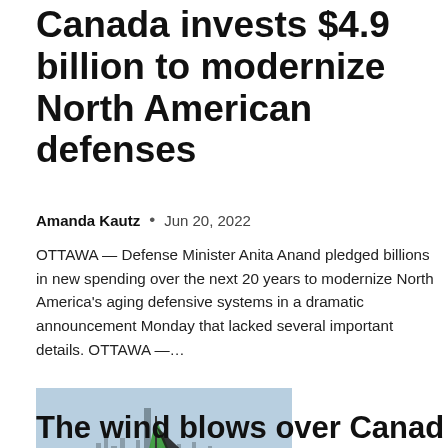Canada invests $4.9 billion to modernize North American defenses
Amanda Kautz · Jun 20, 2022
OTTAWA — Defense Minister Anita Anand pledged billions in new spending over the next 20 years to modernize North America's aging defensive systems in a dramatic announcement Monday that lacked several important details. OTTAWA —...
[Figure (photo): A green and black sailing catamaran on open water with a city skyline (Chicago) visible in the background under a clear sky.]
The wind blows over Canada at